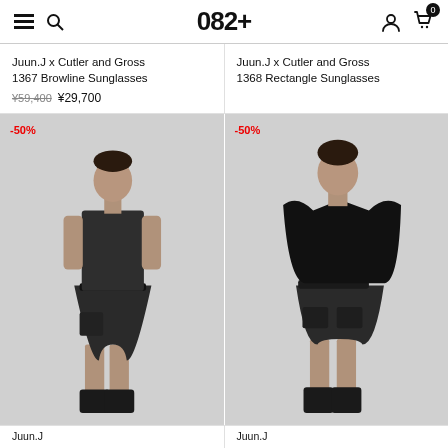082+
Juun.J x Cutler and Gross 1367 Browline Sunglasses ¥59,400 ¥29,700
Juun.J x Cutler and Gross 1368 Rectangle Sunglasses
[Figure (photo): Model wearing black sleeveless top with pleated shorts and belt, black boots. -50% badge shown.]
[Figure (photo): Model wearing black oversized t-shirt with black cargo skirt, black boots. -50% badge shown.]
Juun.J
Juun.J